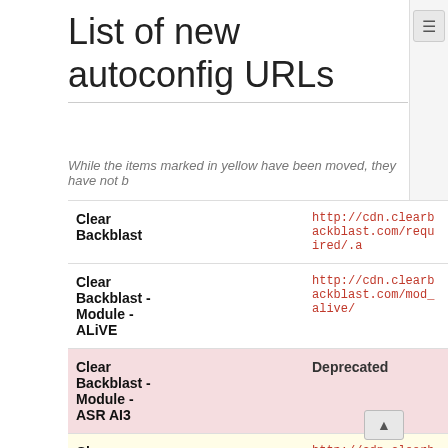List of new autoconfig URLs
While the items marked in yellow have been moved, they have not b
| Name | URL |
| --- | --- |
| Clear Backblast | http://cdn.clearbackblast.com/required/.a |
| Clear Backblast - Module - ALiVE | http://cdn.clearbackblast.com/mod_alive/ |
| Clear Backblast - Module - ASR AI3 | Deprecated |
| Clear Backblast - Module - Optre/ | http://cdn.clearbackblast.com/mod_optre/ |